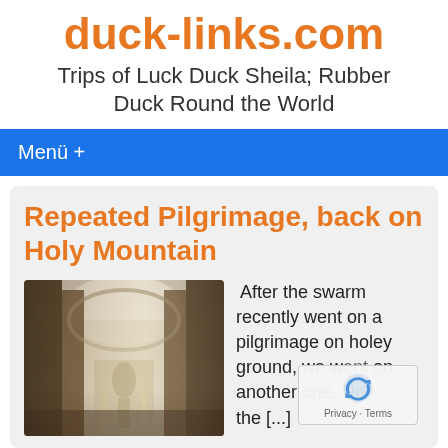duck-links.com
Trips of Luck Duck Sheila; Rubber Duck Round the World
Menü +
Repeated Pilgrimage, back on Holy Mountain
[Figure (photo): Interior of an ornate church or cathedral with baroque architecture, columns, and religious statuary]
After the swarm recently went on a pilgrimage on holey ground, we went on another one. Up the [...]